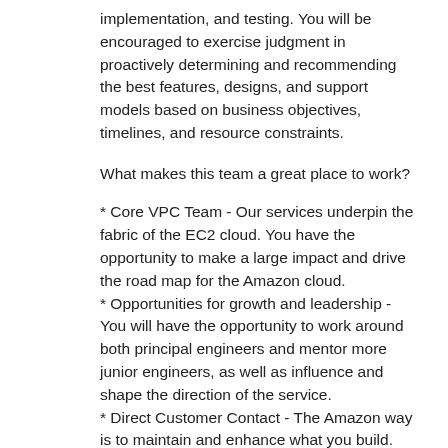implementation, and testing. You will be encouraged to exercise judgment in proactively determining and recommending the best features, designs, and support models based on business objectives, timelines, and resource constraints.
What makes this team a great place to work?
* Core VPC Team - Our services underpin the fabric of the EC2 cloud. You have the opportunity to make a large impact and drive the road map for the Amazon cloud.
* Opportunities for growth and leadership - You will have the opportunity to work around both principal engineers and mentor more junior engineers, as well as influence and shape the direction of the service.
* Direct Customer Contact - The Amazon way is to maintain and enhance what you build. This gives you the opportunity to work directly with customers to understand and guide their needs.
* Scale New Heights - With cloud adoption accelerating, we are challenged with fun, complex problems to think about scale and grow the service to meet ever increasing demands.